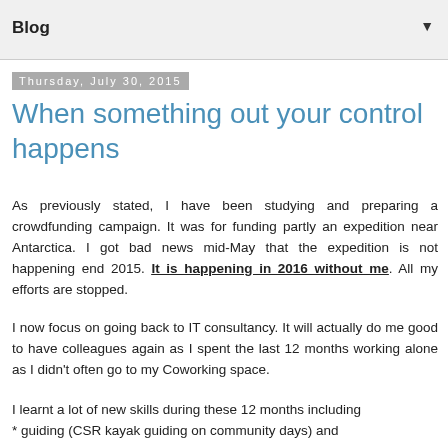Blog
Thursday, July 30, 2015
When something out your control happens
As previously stated, I have been studying and preparing a crowdfunding campaign. It was for funding partly an expedition near Antarctica. I got bad news mid-May that the expedition is not happening end 2015. It is happening in 2016 without me. All my efforts are stopped.
I now focus on going back to IT consultancy. It will actually do me good to have colleagues again as I spent the last 12 months working alone as I didn't often go to my Coworking space.
I learnt a lot of new skills during these 12 months including * guiding (CSR kayak guiding on community days) and